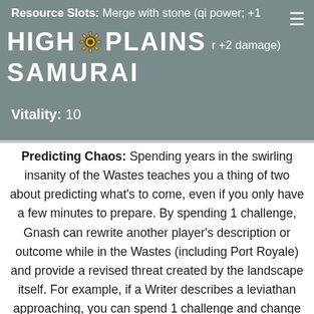Resource Slots: Merge with stone (qi power; +1 ... r +2 damage)
Vitality: 10
Predicting Chaos: Spending years in the swirling insanity of the Wastes teaches you a thing of two about predicting what's to come, even if you only have a few minutes to prepare. By spending 1 challenge, Gnash can rewrite another player's description or outcome while in the Wastes (including Port Royale) and provide a revised threat created by the landscape itself. For example, if a Writer describes a leviathan approaching, you can spend 1 challenge and change it to a sandstorm.